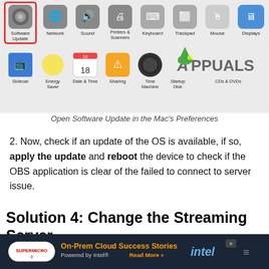[Figure (screenshot): Mac System Preferences window showing icons including Software Update (highlighted with red border), Network, Sound, Printers & Scanners, Keyboard, Trackpad, Mouse, Displays in row 1, and Sidecar, Energy Saver, Date & Time, Sharing, Time Machine, Startup Disk, CDs & DVDs in row 2. Appuals logo visible top right.]
Open Software Update in the Mac's Preferences
Now, check if an update of the OS is available, if so, apply the update and reboot the device to check if the OBS application is clear of the failed to connect to server issue.
Solution 4: Change the Streaming Server
The OBS application may fail to connect to a server if the server itself is down. In this case, changing the streaming server to a different location may solve the problem. For illustration, we will disc... proce... to check